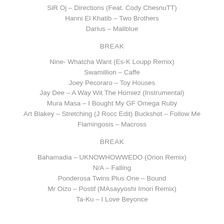SiR Oj – Directions (Feat. Cody ChesnuTT)
Hanni El Khatib – Two Brothers
Darius – Maliblue
BREAK
Nine- Whatcha Want (Es-K Loupp Remix)
Swamillion – Caffe
Joey Pecoraro – Toy Houses
Jay Dee – A Way Wit The Homiez (Instrumental)
Mura Masa – I Bought My GF Omega Ruby
Art Blakey – Stretching (J Rocc Edit) Buckshot – Follow Me
Flamingosis – Macross
BREAK
Bahamadia – UKNOWHOWWEDO (Orion Remix)
N/A – Falling
Ponderosa Twins Plus One – Bound
Mr Oizo – Postif (MAsayyoshi Imori Remix)
Ta-Ku – I Love Beyonce